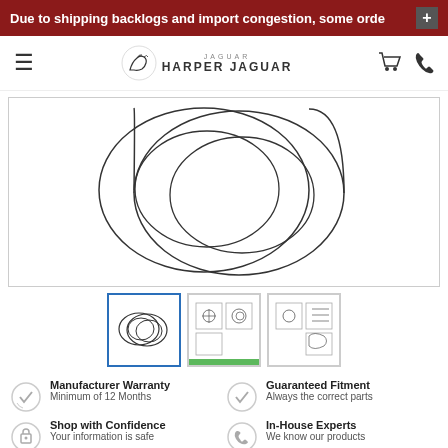Due to shipping backlogs and import congestion, some orde
[Figure (logo): Harper Jaguar logo with Jaguar leaping cat icon and text HARPER JAGUAR]
[Figure (illustration): Technical line drawing of a circular ring/seal part shown in perspective - a hollow cylinder/O-ring shaped component]
[Figure (illustration): Thumbnail 1: small ring part illustration (active/selected with blue border)]
[Figure (illustration): Thumbnail 2: parts diagram illustration with green bar at bottom]
[Figure (illustration): Thumbnail 3: parts diagram illustration]
Manufacturer Warranty
Minimum of 12 Months
Guaranteed Fitment
Always the correct parts
Shop with Confidence
Your information is safe
In-House Experts
We know our products